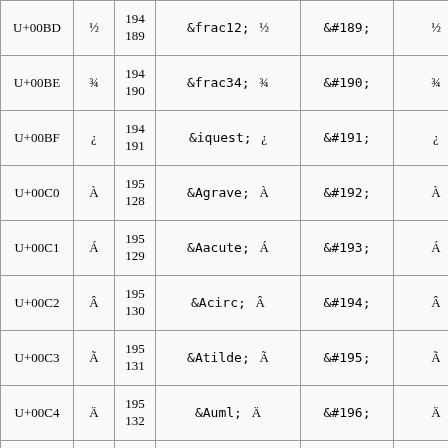| U+00BD | ½ | 194
189 | &frac12;    ½ | &#189; | ½ |
| U+00BE | ¾ | 194
190 | &frac34;    ¾ | &#190; | ¾ |
| U+00BF | ¿ | 194
191 | &iquest;    ¿ | &#191; | ¿ |
| U+00C0 | À | 195
128 | &Agrave;    À | &#192; | À |
| U+00C1 | Á | 195
129 | &Aacute;    Á | &#193; | Á |
| U+00C2 | Â | 195
130 | &Acirc;    Â | &#194; | Â |
| U+00C3 | Ã | 195
131 | &Atilde;    Ã | &#195; | Ã |
| U+00C4 | Ä | 195
132 | &Auml;    Ä | &#196; | Ä |
| U+00C5 | Å | 195
... | &Aring;    Å | &#197; | Å |